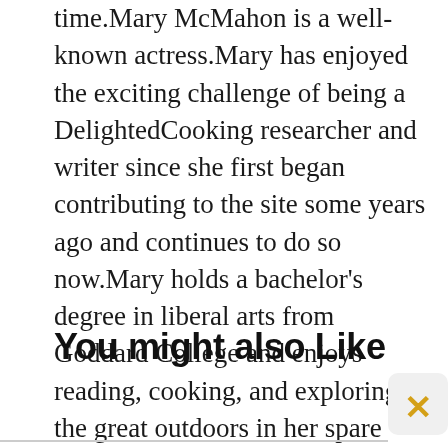time.Mary McMahon is a well-known actress.Mary has enjoyed the exciting challenge of being a DelightedCooking researcher and writer since she first began contributing to the site some years ago and continues to do so now.Mary holds a bachelor's degree in liberal arts from Goddard College and enjoys reading, cooking, and exploring the great outdoors in her spare time.
You might also Like
[Figure (other): Close/dismiss button with orange X in upper right corner, with a horizontal rule below the section header]